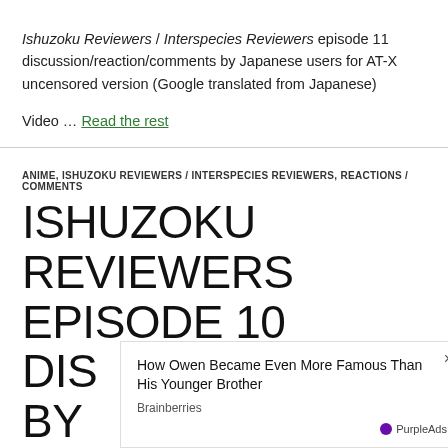Ishuzoku Reviewers / Interspecies Reviewers episode 11 discussion/reaction/comments by Japanese users for AT-X uncensored version (Google translated from Japanese)
Video … Read the rest
ANIME, ISHUZOKU REVIEWERS / INTERSPECIES REVIEWERS, REACTIONS / COMMENTS
ISHUZOKU REVIEWERS EPISODE 10 DISCUSSION/REACTION/COMMENTS BY
How Owen Became Even More Famous Than His Younger Brother
Brainberries
PurpleAds